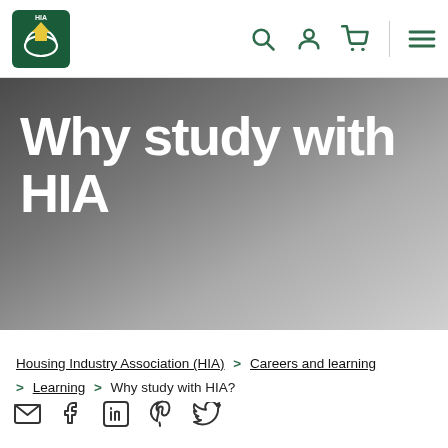[Figure (logo): HIA Housing Industry Association logo — green square with white hands holding a yellow house]
Why study with HIA
Housing Industry Association (HIA) > Careers and learning > Learning > Why study with HIA?
[Figure (infographic): Social share icons: email, Facebook, LinkedIn, Pinterest, Twitter]